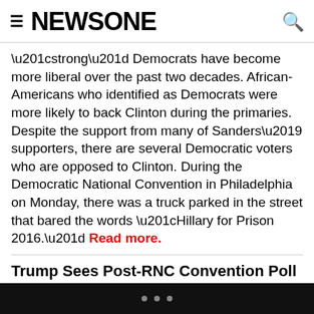NEWSONE
“strong” Democrats have become more liberal over the past two decades. African-Americans who identified as Democrats were more likely to back Clinton during the primaries. Despite the support from many of Sanders’ supporters, there are several Democratic voters who are opposed to Clinton. During the Democratic National Convention in Philadelphia on Monday, there was a truck parked in the street that bared the words “Hillary for Prison 2016.” Read more.
Trump Sees Post-RNC Convention Poll Bump
Despite the dark tone of Donald Trump’s acceptance speech at the Republican National Convention, new